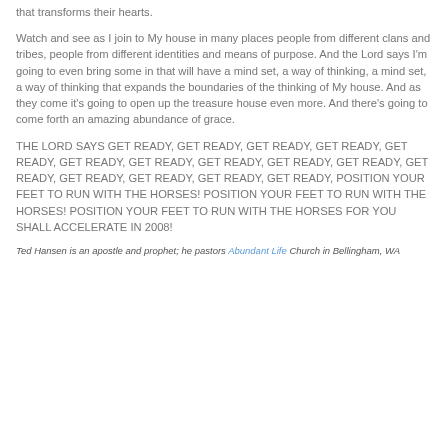that transforms their hearts.
Watch and see as I join to My house in many places people from different clans and tribes, people from different identities and means of purpose. And the Lord says I'm going to even bring some in that will have a mind set, a way of thinking, a mind set, a way of thinking that expands the boundaries of the thinking of My house. And as they come it's going to open up the treasure house even more. And there's going to come forth an amazing abundance of grace.
The Lord says GET READY, GET READY, GET READY, GET READY, GET READY, GET READY, GET READY, GET READY, GET READY, GET READY, GET READY, GET READY, GET READY, GET READY, GET READY, POSITION YOUR FEET TO RUN WITH THE HORSES! POSITION YOUR FEET TO RUN WITH THE HORSES! POSITION YOUR FEET TO RUN WITH THE HORSES FOR YOU SHALL ACCELERATE IN 2008!
Ted Hansen is an apostle and prophet; he pastors Abundant Life Church in Bellingham, WA